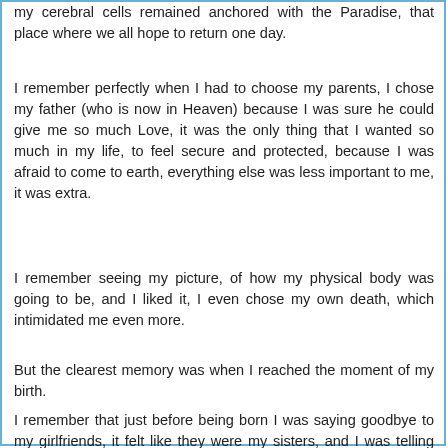my cerebral cells remained anchored with the Paradise, that place where we all hope to return one day.
I remember perfectly when I had to choose my parents, I chose my father (who is now in Heaven) because I was sure he could give me so much Love, it was the only thing that I wanted so much in my life, to feel secure and protected, because I was afraid to come to earth, everything else was less important to me, it was extra.
I remember seeing my picture, of how my physical body was going to be, and I liked it, I even chose my own death, which intimidated me even more.
But the clearest memory was when I reached the moment of my birth.
I remember that just before being born I was saying goodbye to my girlfriends, it felt like they were my sisters, and I was telling one of them to help me if I felt the need to communicate with them, not to leave me alone, that my contact with